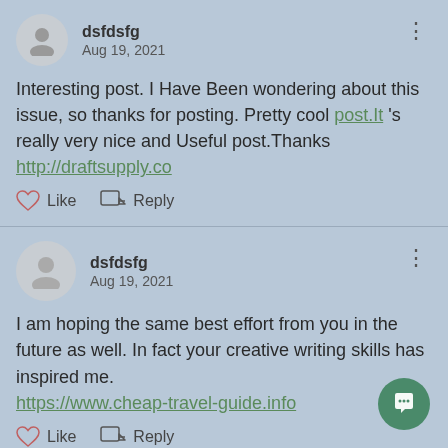dsfdsfg
Aug 19, 2021
Interesting post. I Have Been wondering about this issue, so thanks for posting. Pretty cool post.It 's really very nice and Useful post.Thanks http://draftsupply.co
Like  Reply
dsfdsfg
Aug 19, 2021
I am hoping the same best effort from you in the future as well. In fact your creative writing skills has inspired me. https://www.cheap-travel-guide.info
Like  Reply